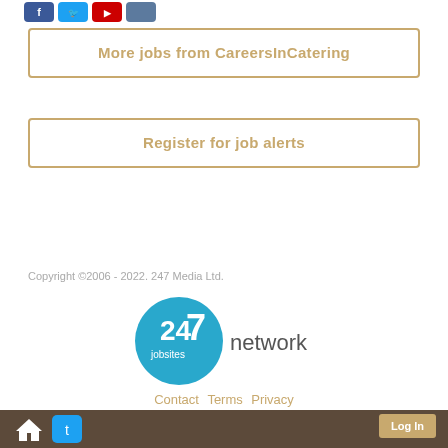[Figure (logo): Social media icon buttons (Facebook blue, Twitter blue, YouTube red, another button) in top left area]
More jobs from CareersInCatering
Register for job alerts
Copyright ©2006 - 2022. 247 Media Ltd.
[Figure (logo): 247 jobsites network logo — blue circle with '247 jobsites' text inside and 'network' text to the right]
Contact  Terms  Privacy
[Figure (logo): Brown footer bar with home icon, twitter bird icon on left and Log In button on right]